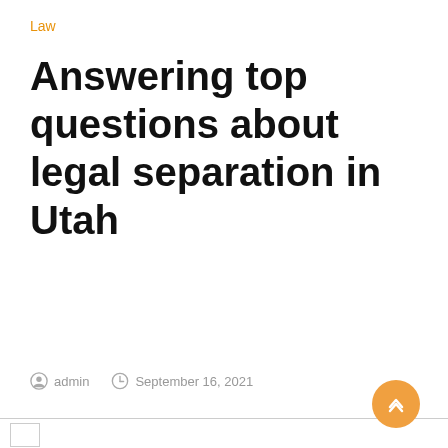Law
Answering top questions about legal separation in Utah
admin   September 16, 2021